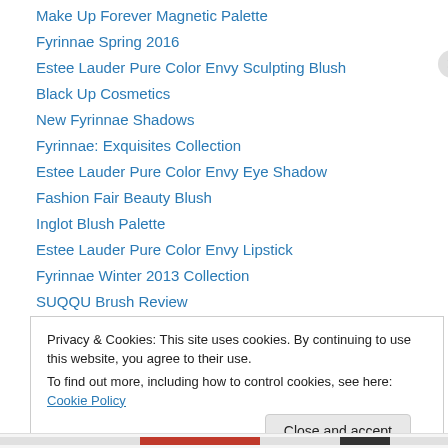Make Up Forever Magnetic Palette
Fyrinnae Spring 2016
Estee Lauder Pure Color Envy Sculpting Blush
Black Up Cosmetics
New Fyrinnae Shadows
Fyrinnae: Exquisites Collection
Estee Lauder Pure Color Envy Eye Shadow
Fashion Fair Beauty Blush
Inglot Blush Palette
Estee Lauder Pure Color Envy Lipstick
Fyrinnae Winter 2013 Collection
SUQQU Brush Review
Wayne Goss, The Collection
Privacy & Cookies: This site uses cookies. By continuing to use this website, you agree to their use.
To find out more, including how to control cookies, see here: Cookie Policy
Close and accept